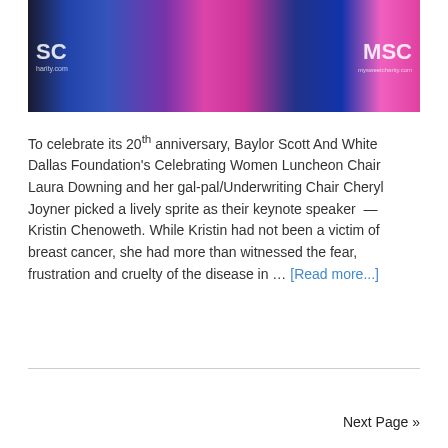[Figure (photo): Group photo of several people at an event with MSC (mysweet charity) logos visible on both sides of the image. People are dressed in formal attire including blue, magenta/pink, and brown outfits. The MSC logo appears in white text on the left and right sides of the image.]
To celebrate its 20th anniversary, Baylor Scott And White Dallas Foundation's Celebrating Women Luncheon Chair Laura Downing and her gal-pal/Underwriting Chair Cheryl Joyner picked a lively sprite as their keynote speaker — Kristin Chenoweth. While Kristin had not been a victim of breast cancer, she had more than witnessed the fear, frustration and cruelty of the disease in … [Read more...]
Next Page »